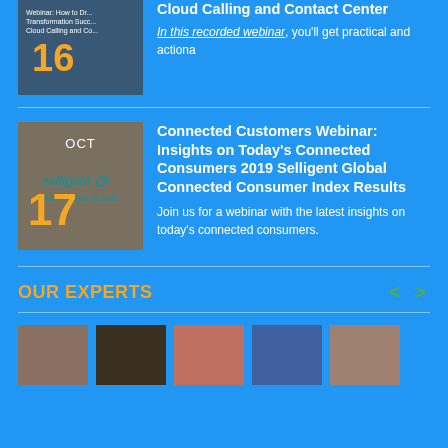[Figure (photo): Webinar thumbnail with APR 16 date overlay]
Cloud Calling and Contact Center
In this recorded webinar, you'll get practical and actiona
[Figure (logo): Selligent Marketing Cloud logo on grey background with OCT 17 date overlay]
Connected Customers Webinar: Insights on Today's Connected Consumers 2019 Selligent Global Connected Consumer Index Results
Join us for a webinar with the latest insights on today's connected consumers.
OUR EXPERTS
[Figure (photo): Row of five expert headshot photos at the bottom of the page]